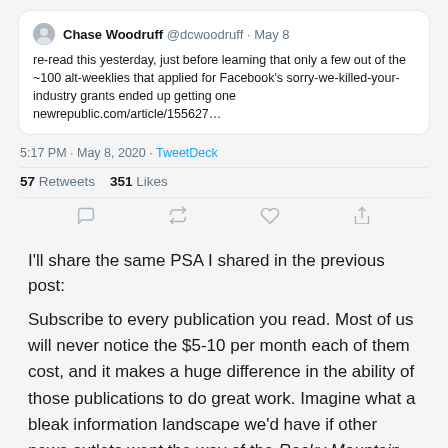[Figure (screenshot): Embedded tweet from Chase Woodruff @dcwoodruff · May 8: re-read this yesterday, just before learning that only a few out of the ~100 alt-weeklies that applied for Facebook's sorry-we-killed-your-industry grants ended up getting one newrepublic.com/article/155627... Timestamp: 5:17 PM · May 8, 2020 · TweetDeck. 57 Retweets 351 Likes. Action icons: reply, retweet, like, share.]
I'll share the same PSA I shared in the previous post:
Subscribe to every publication you read. Most of us will never notice the $5-10 per month each of them cost, and it makes a huge difference in the ability of those publications to do great work. Imagine what a bleak information landscape we'd have if other news outlets went the way of the Rocky Mountain News.